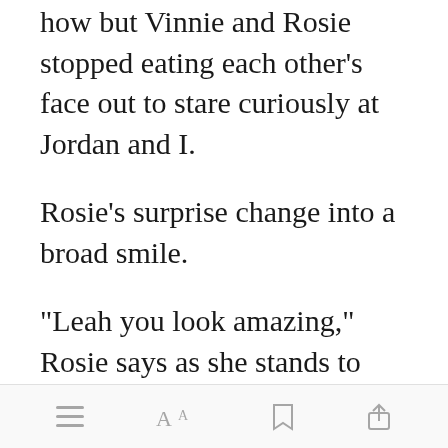how but Vinnie and Rosie stopped eating each other's face out to stare curiously at Jordan and I.
Rosie's surprise change into a broad smile.
"Leah you look amazing," Rosie says as she stands to hug me, then drew away to giggle at Jordan. "And look at you," she ch[Open in app]moving in to hug him. "You look like a
☰  AA  🔖  ↑